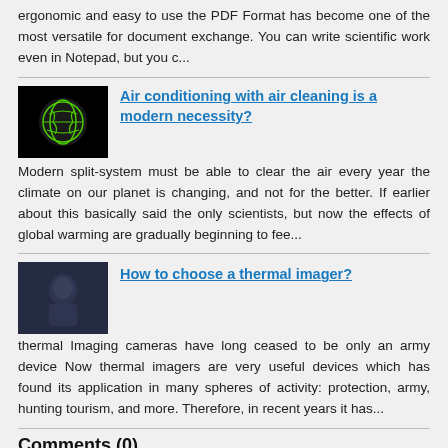ergonomic and easy to use the PDF Format has become one of the most versatile for document exchange. You can write scientific work even in Notepad, but you c...
[Figure (illustration): Black thumbnail with green globe/earth icon]
Air conditioning with air cleaning is a modern necessity?
Modern split-system must be able to clear the air every year the climate on our planet is changing, and not for the better. If earlier about this basically said the only scientists, but now the effects of global warming are gradually beginning to fee...
[Figure (photo): Dark blue/grey photo of a person silhouette]
How to choose a thermal imager?
thermal Imaging cameras have long ceased to be only an army device Now thermal imagers are very useful devices which has found its application in many spheres of activity: protection, army, hunting tourism, and more. Therefore, in recent years it has...
Comments (0)
This article has no comment, be the first!